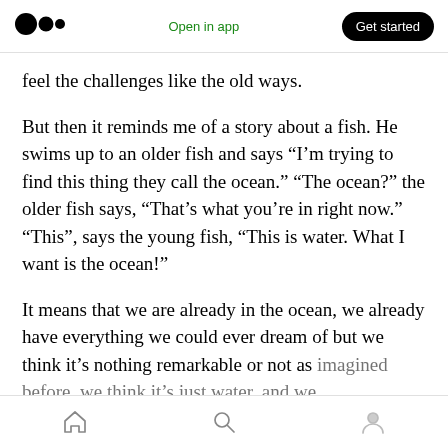Medium logo | Open in app | Get started
feel the challenges like the old ways.
But then it reminds me of a story about a fish. He swims up to an older fish and says “I’m trying to find this thing they call the ocean.” “The ocean?” the older fish says, “That’s what you’re in right now.” “This”, says the young fish, “This is water. What I want is the ocean!”
It means that we are already in the ocean, we already have everything we could ever dream of but we think it’s nothing remarkable or not as imagined before, we think it’s just water, and we
Home | Search | Profile